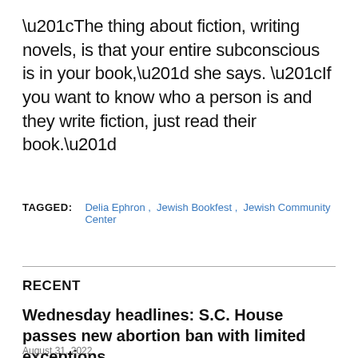“The thing about fiction, writing novels, is that your entire subconscious is in your book,” she says. “If you want to know who a person is and they write fiction, just read their book.”
TAGGED: Delia Ephron, Jewish Bookfest, Jewish Community Center
RECENT
Wednesday headlines: S.C. House passes new abortion ban with limited exceptions
August 31, 2022